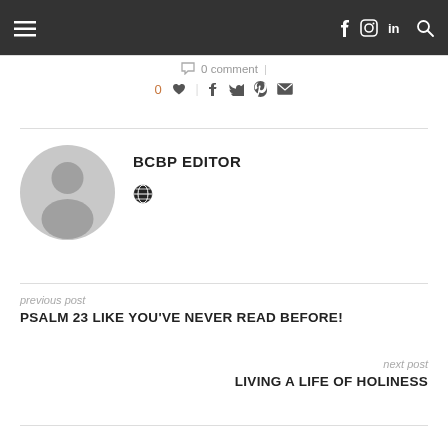≡  f  in  🔍
💬 0 comment
0 ♥ | f 🐦  pinterest ✉
BCBP EDITOR
[Figure (illustration): Gray circular avatar placeholder with silhouette of a person]
🌐
previous post
PSALM 23 LIKE YOU'VE NEVER READ BEFORE!
next post
LIVING A LIFE OF HOLINESS